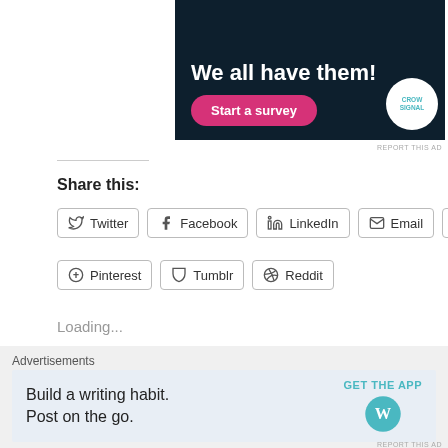[Figure (screenshot): Dark navy advertisement banner with white bold text 'We all have them!' and a pink 'Start a survey' button, with a Crowdsignal circular logo on the right]
REPORT THIS AD
Share this:
Twitter
Facebook
LinkedIn
Email
Print
Pinterest
Tumblr
Reddit
Loading...
Advertisements
[Figure (screenshot): Light blue advertisement: 'Build a writing habit. Post on the go.' with GET THE APP button and WordPress logo]